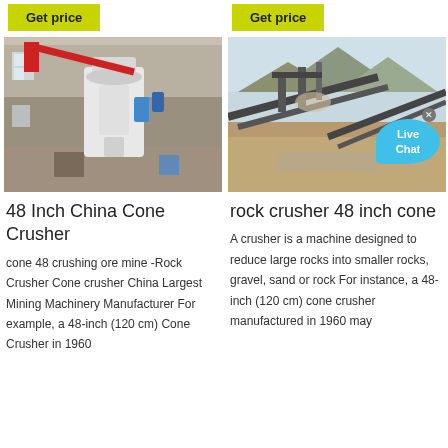[Figure (photo): Industrial cone crusher machine inside a factory warehouse, showing a large white mechanical grinder with red crane arm]
[Figure (photo): Outdoor quarry rock crushing site with conveyor belts and machinery, mountains in background, with a 'Live Chat' bubble overlay]
48 Inch China Cone Crusher
rock crusher 48 inch cone
cone 48 crushing ore mine -Rock Crusher Cone crusher China Largest Mining Machinery Manufacturer For example, a 48-inch (120 cm) Cone Crusher in 1960
A crusher is a machine designed to reduce large rocks into smaller rocks, gravel, sand or rock For instance, a 48-inch (120 cm) cone crusher manufactured in 1960 may